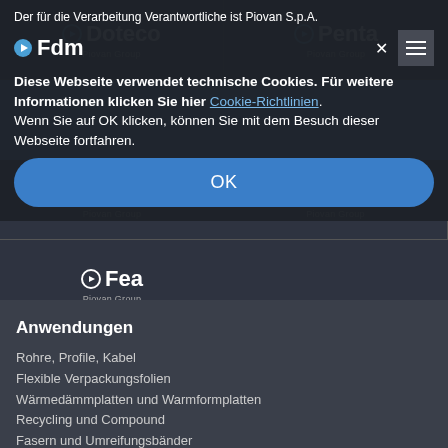Der für die Verarbeitung Verantwortliche ist Piovan S.p.A.
Diese Webseite verwendet technische Cookies. Für weitere Informationen klicken Sie hier Cookie-Richtlinien. Wenn Sie auf OK klicken, können Sie mit dem Besuch dieser Webseite fortfahren.
[Figure (logo): Fdm Piovan Group logo]
[Figure (logo): Doteco Piovan Group logo]
[Figure (logo): Penta Piovan Group logo]
[Figure (logo): Energys Piovan Group logo]
[Figure (logo): Progema Piovan Group logo]
[Figure (logo): Fea Piovan Group logo]
Anwendungen
Rohre, Profile, Kabel
Flexible Verpackungsfolien
Wärmedämmplatten und Warmformplatten
Recycling und Compound
Fasern und Umreifungsbänder